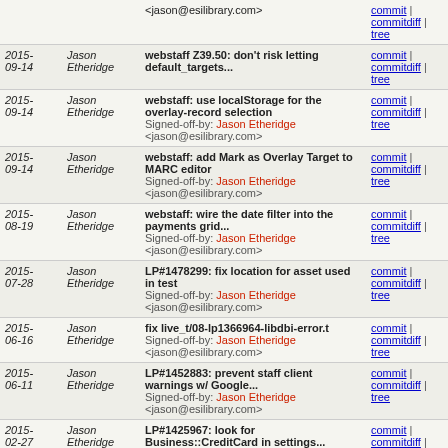| Date | Author | Message | Links |
| --- | --- | --- | --- |
|  |  | <jason@esilibrary.com> | commit | commitdiff | tree |
| 2015-09-14 | Jason Etheridge | webstaff Z39.50: don't risk letting default_targets... | commit | commitdiff | tree |
| 2015-09-14 | Jason Etheridge | webstaff: use localStorage for the overlay-record selection
Signed-off-by: Jason Etheridge <jason@esilibrary.com> | commit | commitdiff | tree |
| 2015-09-14 | Jason Etheridge | webstaff: add Mark as Overlay Target to MARC editor
Signed-off-by: Jason Etheridge <jason@esilibrary.com> | commit | commitdiff | tree |
| 2015-08-19 | Jason Etheridge | webstaff: wire the date filter into the payments grid...
Signed-off-by: Jason Etheridge <jason@esilibrary.com> | commit | commitdiff | tree |
| 2015-07-28 | Jason Etheridge | LP#1478299: fix location for asset used in test
Signed-off-by: Jason Etheridge <jason@esilibrary.com> | commit | commitdiff | tree |
| 2015-06-16 | Jason Etheridge | fix live_t/08-lp1366964-libdbi-error.t
Signed-off-by: Jason Etheridge <jason@esilibrary.com> | commit | commitdiff | tree |
| 2015-06-11 | Jason Etheridge | LP#1452883: prevent staff client warnings w/ Google...
Signed-off-by: Jason Etheridge <jason@esilibrary.com> | commit | commitdiff | tree |
| 2015-02-27 | Jason Etheridge | LP#1425967: look for Business::CreditCard in settings... | commit | commitdiff | tree |